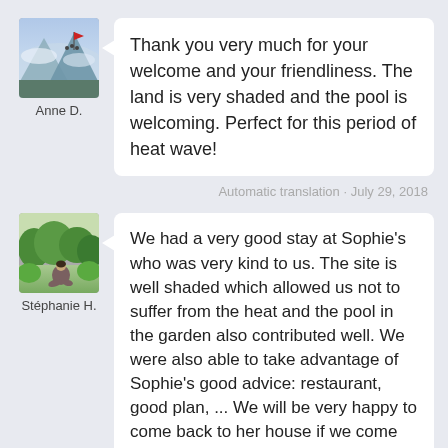[Figure (photo): Profile photo of Anne D. showing mountain landscape with flag and people]
Anne D.
Thank you very much for your welcome and your friendliness. The land is very shaded and the pool is welcoming. Perfect for this period of heat wave!
Automatic translation · July 29, 2018
[Figure (photo): Profile photo of Stéphanie H. showing a person sitting in a green field]
Stéphanie H.
We had a very good stay at Sophie's who was very kind to us. The site is well shaded which allowed us not to suffer from the heat and the pool in the garden also contributed well. We were also able to take advantage of Sophie's good advice: restaurant, good plan, ... We will be very happy to come back to her house if we come back in the region.